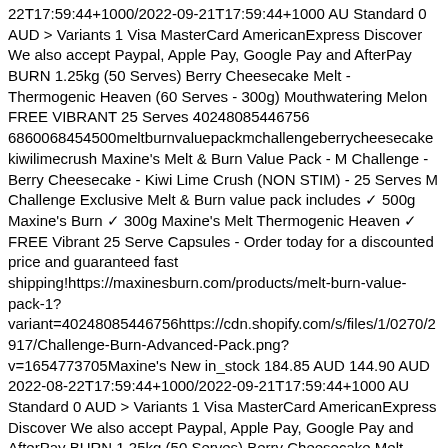22T17:59:44+1000/2022-09-21T17:59:44+1000 AU Standard 0 AUD > Variants 1 Visa MasterCard AmericanExpress Discover We also accept Paypal, Apple Pay, Google Pay and AfterPay BURN 1.25kg (50 Serves) Berry Cheesecake Melt - Thermogenic Heaven (60 Serves - 300g) Mouthwatering Melon FREE VIBRANT 25 Serves 40248085446756 6860068454500meltburnvaluepackmchallengeberrycheesecakekiwilimecrush Maxine's Melt & Burn Value Pack - M Challenge - Berry Cheesecake - Kiwi Lime Crush (NON STIM) - 25 Serves M Challenge Exclusive Melt & Burn value pack includes ✓ 500g Maxine's Burn ✓ 300g Maxine's Melt Thermogenic Heaven ✓ FREE Vibrant 25 Serve Capsules - Order today for a discounted price and guaranteed fast shipping!https://maxinesburn.com/products/melt-burn-value-pack-1?variant=40248085446756https://cdn.shopify.com/s/files/1/0270/2917/Challenge-Burn-Advanced-Pack.png?v=1654773705Maxine's New in_stock 184.85 AUD 144.90 AUD 2022-08-22T17:59:44+1000/2022-09-21T17:59:44+1000 AU Standard 0 AUD > Variants 1 Visa MasterCard AmericanExpress Discover We also accept Paypal, Apple Pay, Google Pay and AfterPay BURN 1.25kg (50 Serves) Berry Cheesecake Melt - Thermogenic Heaven (60 Serves - 300g) Kiwi Lime Crush (NON STIM) FREE VIBRANT 25 Serves 40248085479524 6860068454500meltburnvaluepackmchallengechochoneycombmouthwateringmelon